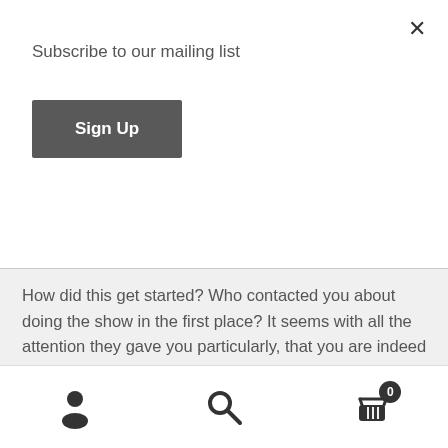Subscribe to our mailing list
Sign Up
How did this get started? Who contacted you about doing the show in the first place? It seems with all the attention they gave you particularly, that you are indeed headed for more (as Moseley implied.) But now you know how fake and weird TV is. They made you say what they wanted you to say once, but are you ready to do any more questionable things for fame? They're waiting. Think about it, and see if you can get your ass back to La La land, or